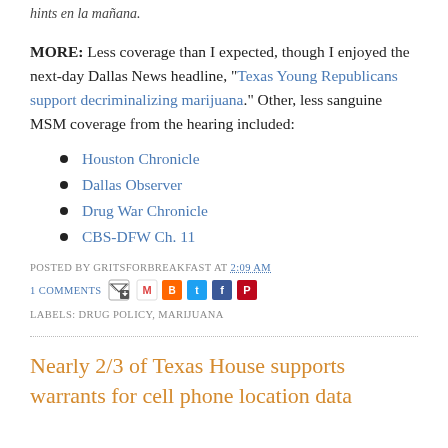hints en la mañana.
MORE: Less coverage than I expected, though I enjoyed the next-day Dallas News headline, "Texas Young Republicans support decriminalizing marijuana." Other, less sanguine MSM coverage from the hearing included:
Houston Chronicle
Dallas Observer
Drug War Chronicle
CBS-DFW Ch. 11
POSTED BY GRITSFORBREAKFAST AT 2:09 AM
1 COMMENTS
LABELS: DRUG POLICY, MARIJUANA
Nearly 2/3 of Texas House supports warrants for cell phone location data